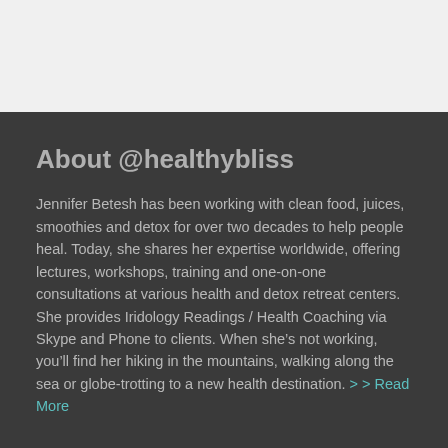About @healthybliss
Jennifer Betesh has been working with clean food, juices, smoothies and detox for over two decades to help people heal. Today, she shares her expertise worldwide, offering lectures, workshops, training and one-on-one consultations at various health and detox retreat centers. She provides Iridology Readings / Health Coaching via Skype and Phone to clients. When she’s not working, you’ll find her hiking in the mountains, walking along the sea or globe-trotting to a new health destination. >> Read More